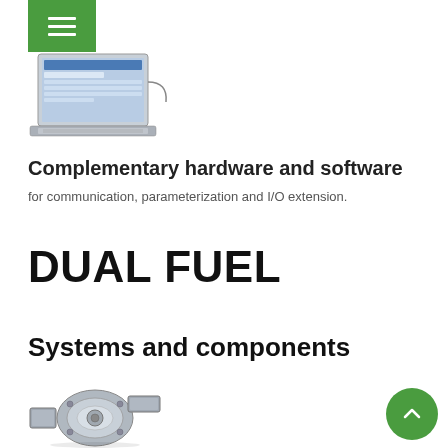Navigation menu header
[Figure (photo): Laptop computer with software interface displayed on screen]
Complementary hardware and software
for communication, parameterization and I/O extension.
DUAL FUEL
Systems and components
[Figure (photo): Metal mechanical component - turbocharger or fuel system part]